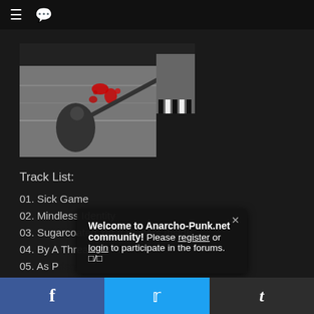≡  💬
[Figure (photo): Black and white photo with red paint/blood splatters on a wall, person in the foreground, album art collage]
Track List:
01. Sick Game
02. Mindless Identity
03. Sugarcoated Yet It Festers Inside
04. By A Thread
05. As P[risoners Decay]
06. Life In[...]
07. I Am G[...]
Welcome to Anarcho-Punk.net community! Please register or login to participate in the forums. □/□